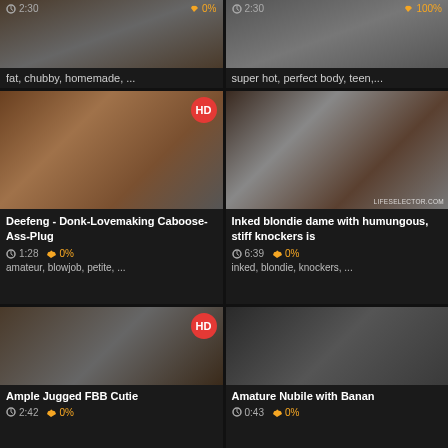[Figure (screenshot): Video thumbnail grid showing adult content video listings with thumbnails, titles, durations, ratings and tags]
fat, chubby, homemade, ...
super hot, perfect body, teen,...
[Figure (photo): HD video thumbnail]
Deefeng - Donk-Lovemaking Caboose-Ass-Plug
1:28  0%
amateur, blowjob, petite, ...
[Figure (photo): Video thumbnail with LIFESELECTOR.COM watermark]
Inked blondie dame with humungous, stiff knockers is
6:39  0%
inked, blondie, knockers, ...
[Figure (photo): HD video thumbnail]
Ample Jugged FBB Cutie
2:42  0%
[Figure (photo): Video thumbnail]
Amature Nubile with Banan
0:43  0%